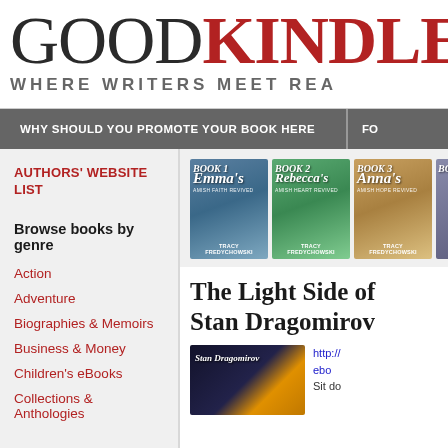GOODKINDLES WHERE WRITERS MEET READERS
WHY SHOULD YOU PROMOTE YOUR BOOK HERE
FO
AUTHORS' WEBSITE LIST
Browse books by genre
Action
Adventure
Biographies & Memoirs
Business & Money
Children's eBooks
Collections & Anthologies
[Figure (illustration): Three book covers in a series by Tracy Fredychowski: Emma's, Rebecca's, and Anna's, plus a partial fourth cover]
The Light Side of Stan Dragomirov
[Figure (illustration): Book cover image with author name Stan Dragomirov on dark background with yellow/orange design]
http:// ebook